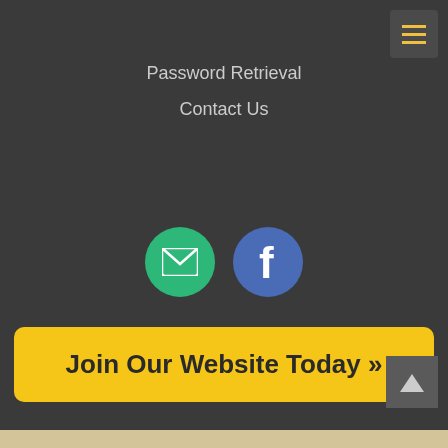≡
Password Retrieval
Contact Us
[Figure (illustration): Two social media icon circles: green email envelope icon and blue Facebook 'f' icon]
Join Our Website Today »
© 2022 Q Directory All Rights Reserved. Terms of Use | Privacy Policy